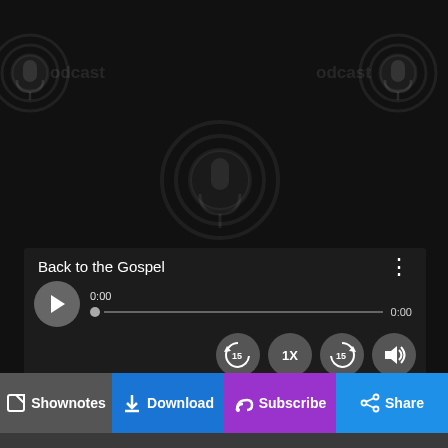[Figure (screenshot): Podcast audio player UI screenshot with dark background showing podcast watermark logos, player controls titled 'Back to the Gospel', progress bar at 0:00, rewind/speed/forward/volume buttons, and action buttons for Shownotes, Download, Subscribe, Share, and Embed.]